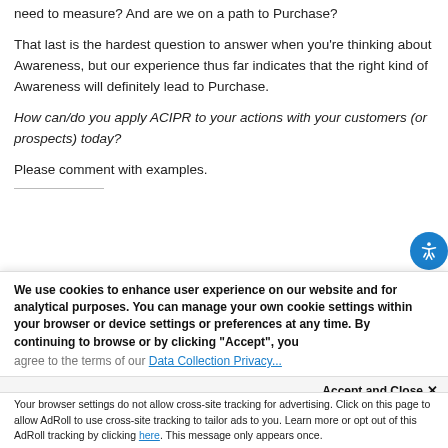need to measure? And are we on a path to Purchase?
That last is the hardest question to answer when you're thinking about Awareness, but our experience thus far indicates that the right kind of Awareness will definitely lead to Purchase.
How can/do you apply ACIPR to your actions with your customers (or prospects) today?
Please comment with examples.
We use cookies to enhance user experience on our website and for analytical purposes. You can manage your own cookie settings within your browser or device settings or preferences at any time. By continuing to browse or by clicking "Accept", you agree to the terms of our Data Collection Privacy...
Accept and Close ✕
Your browser settings do not allow cross-site tracking for advertising. Click on this page to allow AdRoll to use cross-site tracking to tailor ads to you. Learn more or opt out of this AdRoll tracking by clicking here. This message only appears once.